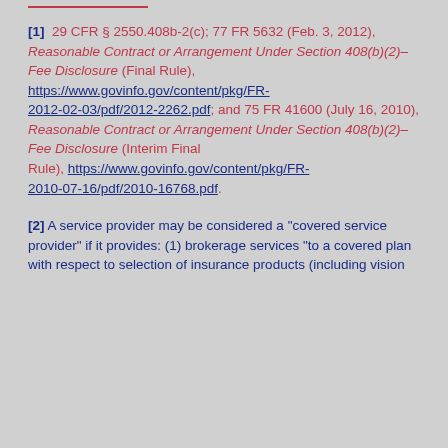[1] 29 CFR § 2550.408b-2(c); 77 FR 5632 (Feb. 3, 2012), Reasonable Contract or Arrangement Under Section 408(b)(2)–Fee Disclosure (Final Rule), https://www.govinfo.gov/content/pkg/FR-2012-02-03/pdf/2012-2262.pdf; and 75 FR 41600 (July 16, 2010), Reasonable Contract or Arrangement Under Section 408(b)(2)–Fee Disclosure (Interim Final Rule), https://www.govinfo.gov/content/pkg/FR-2010-07-16/pdf/2010-16768.pdf.
[2] A service provider may be considered a "covered service provider" if it provides: (1) brokerage services "to a covered plan with respect to selection of insurance products (including vision